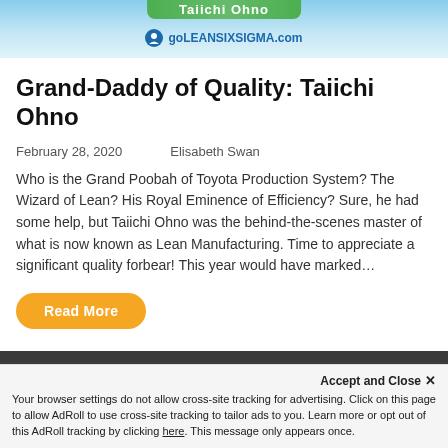[Figure (illustration): Website banner for goLEANSIXSIGMA.com with green ribbon and logo]
Grand-Daddy of Quality: Taiichi Ohno
February 28, 2020    Elisabeth Swan
Who is the Grand Poobah of Toyota Production System? The Wizard of Lean? His Royal Eminence of Efficiency? Sure, he had some help, but Taiichi Ohno was the behind-the-scenes master of what is now known as Lean Manufacturing. Time to appreciate a significant quality forbear! This year would have marked…
Read More
[Figure (screenshot): Dark banner preview for article: The Curse of Lean Six Sigma: You'll Never See the Same Wa...]
Accept and Close ✕
Your browser settings do not allow cross-site tracking for advertising. Click on this page to allow AdRoll to use cross-site tracking to tailor ads to you. Learn more or opt out of this AdRoll tracking by clicking here. This message only appears once.